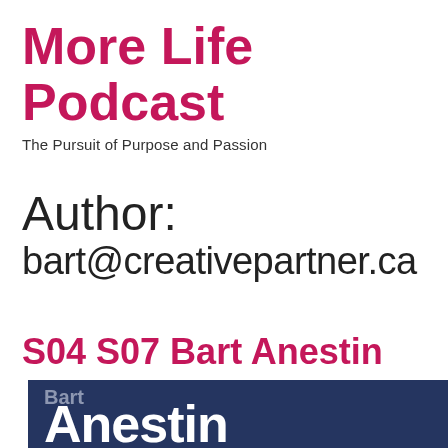More Life Podcast
The Pursuit of Purpose and Passion
Author: bart@creativepartner.ca
S04 S07 Bart Anestin
[Figure (other): Dark navy blue banner with large white bold text reading 'Anestin' and partially visible text above it]